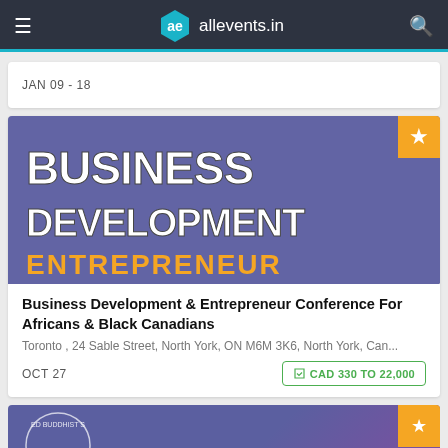allevents.in
JAN 09 - 18
[Figure (screenshot): Business Development & Entrepreneur Conference banner image with purple background and bold white text reading BUSINESS DEVELOPMENT and partial yellow text below]
Business Development & Entrepreneur Conference For Africans & Black Canadians
Toronto , 24 Sable Street, North York, ON M6M 3K6, North York, Can...
OCT 27
CAD 330 TO 22,000
[Figure (screenshot): Partial view of another event card at the bottom showing a purple gradient background with Buddhist Society text/logo partially visible and an orange star badge]